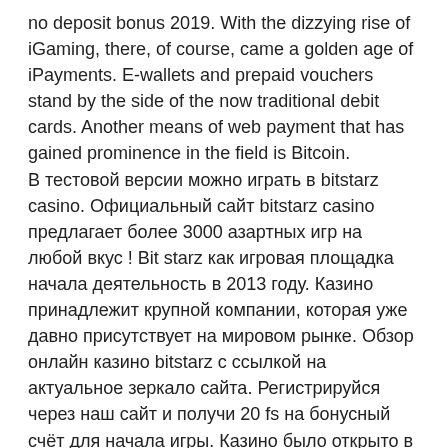no deposit bonus 2019. With the dizzying rise of iGaming, there, of course, came a golden age of iPayments. E-wallets and prepaid vouchers stand by the side of the now traditional debit cards. Another means of web payment that has gained prominence in the field is Bitcoin. В тестовой версии можно играть в bitstarz casino. Официальный сайт bitstarz casino предлагает более 3000 азартных игр на любой вкус ! Bit starz как игровая площадка начала деятельность в 2013 году. Казино принадлежит крупной компании, которая уже давно присутствует на мировом рынке. Обзор онлайн казино bitstarz с ссылкой на актуальное зеркало сайта. Регистрируйся через наш сайт и получи 20 fs на бонусный счёт для начала игры. Казино было открыто в 2014 году, управляется компанией dama n. Официальный сайт